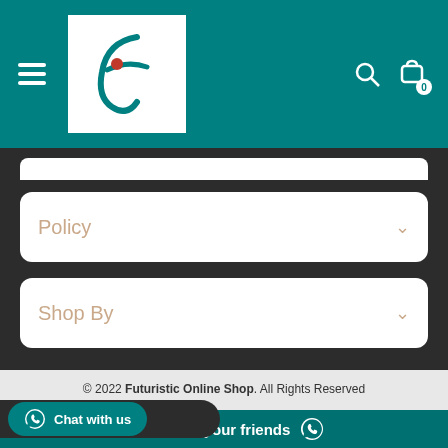[Figure (logo): Futuristic Online Shop logo - teal cursive F with red dot on white background]
Policy
Shop By
© 2022 Futuristic Online Shop. All Rights Reserved
[Figure (other): Payment method logos: DISCOVER, MasterCard, PayPal, Skrill, VISA]
Chat with us
Share with your friends